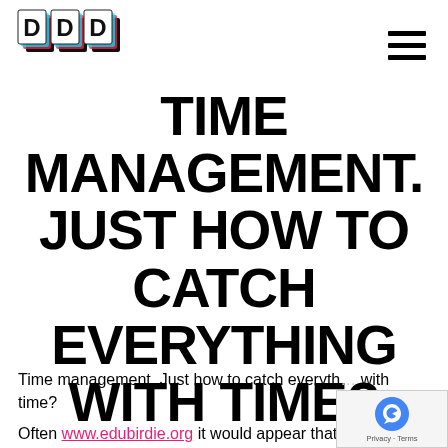DDD logo and hamburger menu navigation
TIME MANAGEMENT. JUST HOW TO CATCH EVERYTHING WITH TIME?
Time management. Just how to catch everything with time?
Often www.edubirdie.org it would appear that there